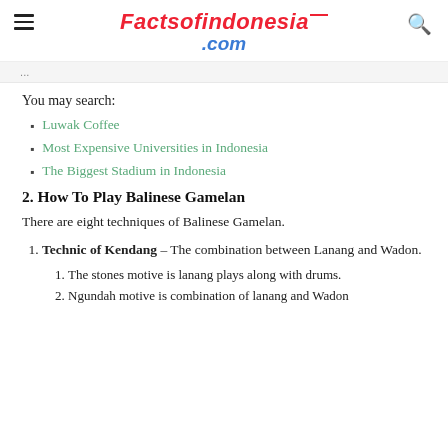Factsofindonesia.com
You may search:
Luwak Coffee
Most Expensive Universities in Indonesia
The Biggest Stadium in Indonesia
2. How To Play Balinese Gamelan
There are eight techniques of Balinese Gamelan.
Technic of Kendang – The combination between Lanang and Wadon.
The stones motive is lanang plays along with drums.
Ngundah motive is combination of lanang and Wadon